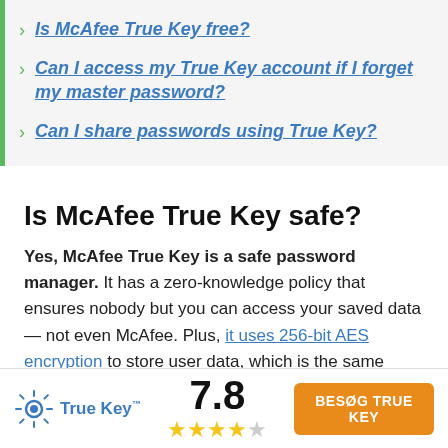Is McAfee True Key free?
Can I access my True Key account if I forget my master password?
Can I share passwords using True Key?
Is McAfee True Key safe?
Yes, McAfee True Key is a safe password manager. It has a zero-knowledge policy that ensures nobody but you can access your saved data — not even McAfee. Plus, it uses 256-bit AES encryption to store user data, which is the same encryption method that governments and banks use
True Key  7.8  ★★★★☆  BESØG TRUE KEY